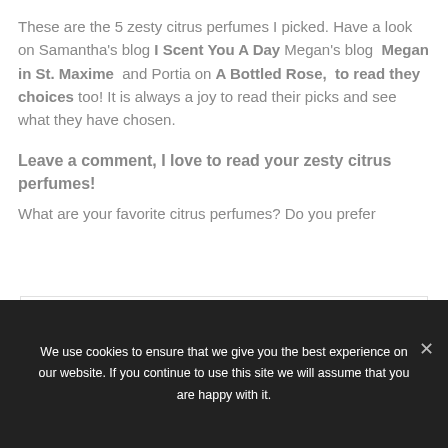These are the 5 zesty citrus perfumes I picked. Have a look on Samantha's blog I Scent You A Day Megan's blog Megan in St. Maxime and Portia on A Bottled Rose, to read they choices too! It is always a joy to read their picks and see what they have chosen.
Leave a comment, I love to read your zesty citrus perfumes!
What are your favorite citrus perfumes? Do you prefer
Privacy & Cookies: This site uses cookies. By continuing to use this website, you agree to their use.
We use cookies to ensure that we give you the best experience on our website. If you continue to use this site we will assume that you are happy with it.